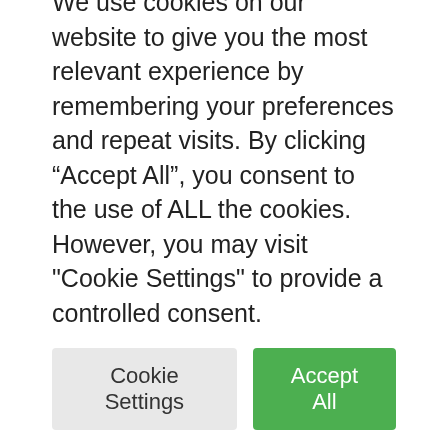prospect of a solution in the short term, the sector is finally warning of depleted financial reserves, which could lead to a future wave of bankruptcies and layoffs. This, even if the ambitions of craftsmanship are not lacking, especially with regard to the energy transition theme.
Exacerbated in the public debate over the war in Ukraine, the industry's reliance on
We use cookies on our website to give you the most relevant experience by remembering your preferences and repeat visits. By clicking “Accept All”, you consent to the use of ALL the cookies. However, you may visit "Cookie Settings" to provide a controlled consent.